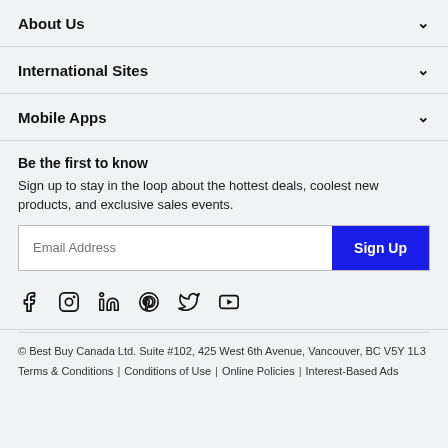About Us
International Sites
Mobile Apps
Be the first to know
Sign up to stay in the loop about the hottest deals, coolest new products, and exclusive sales events.
[Figure (other): Email address input field with Sign Up button]
[Figure (other): Social media icons: Facebook, Instagram, LinkedIn, Pinterest, Twitter, YouTube]
© Best Buy Canada Ltd. Suite #102, 425 West 6th Avenue, Vancouver, BC V5Y 1L3
Terms & Conditions  |  Conditions of Use  |  Online Policies  |  Interest-Based Ads